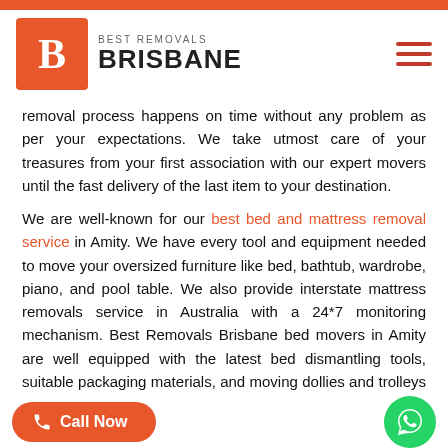[Figure (logo): Best Removals Brisbane logo with orange B icon and company name]
removal process happens on time without any problem as per your expectations. We take utmost care of your treasures from your first association with our expert movers until the fast delivery of the last item to your destination.
We are well-known for our best bed and mattress removal service in Amity. We have every tool and equipment needed to move your oversized furniture like bed, bathtub, wardrobe, piano, and pool table. We also provide interstate mattress removals service in Australia with a 24*7 monitoring mechanism. Best Removals Brisbane bed movers in Amity are well equipped with the latest bed dismantling tools, suitable packaging materials, and moving dollies and trolleys to displace your furniture. We move beds of every size and locals and interstates of Amity.